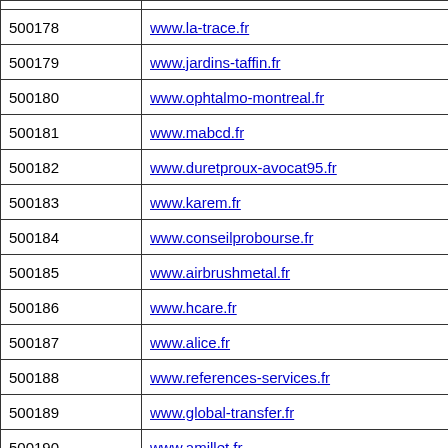| ID | URL |
| --- | --- |
| 500178 | www.la-trace.fr |
| 500179 | www.jardins-taffin.fr |
| 500180 | www.ophtalmo-montreal.fr |
| 500181 | www.mabcd.fr |
| 500182 | www.duretproux-avocat95.fr |
| 500183 | www.karem.fr |
| 500184 | www.conseilprobourse.fr |
| 500185 | www.airbrushmetal.fr |
| 500186 | www.hcare.fr |
| 500187 | www.alice.fr |
| 500188 | www.references-services.fr |
| 500189 | www.global-transfer.fr |
| 500190 | www.amillet.fr |
| 500191 | www.acclp.fr |
| 500192 | www.disruptcafe.fr |